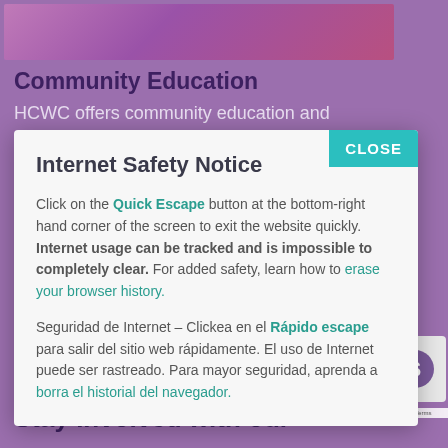[Figure (screenshot): Purple/pink gradient banner image at top of webpage]
Community Education
HCWC offers community education and
Internet Safety Notice
Click on the Quick Escape button at the bottom-right hand corner of the screen to exit the website quickly. Internet usage can be tracked and is impossible to completely clear. For added safety, learn how to erase your browser history.
Seguridad de Internet – Clickea en el Rápido escape para salir del sitio web rápidamente. El uso de Internet puede ser rastreado. Para mayor seguridad, aprenda a borra el historial del navegador.
Stay Involved with our